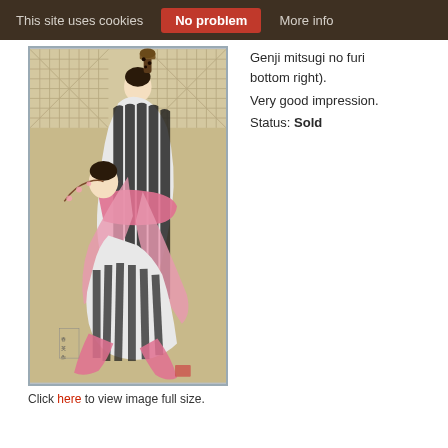This site uses cookies   No problem   More info
[Figure (photo): Japanese woodblock print showing two female figures (bijin) in elaborate black-and-white striped kimonos with pink sashes, dynamic flowing composition on a tan/beige background with geometric patterned upper section.]
Click here to view image full size.
Genji mitsugi no furi bottom right).
Very good impression.
Status: Sold